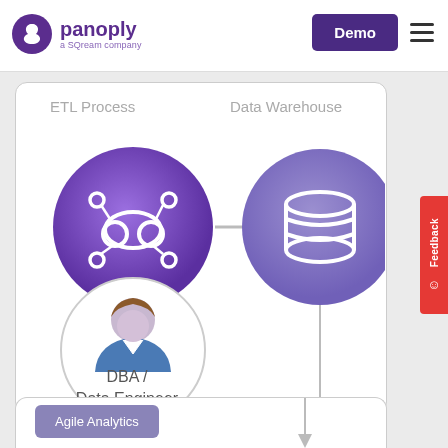[Figure (logo): Panoply logo - purple bird icon with 'panoply' text and 'a SQream company' subtitle]
Demo
[Figure (flowchart): ETL Process diagram with cloud/network icon circle connected by arrow to Data Warehouse database cylinder circle, with vertical line going down, and DBA/Data Engineer person icon below ETL process column. Bottom shows partial 'Agile Analytics' button.]
ETL Process
Data Warehouse
DBA /
Data Engineer
Agile Analytics